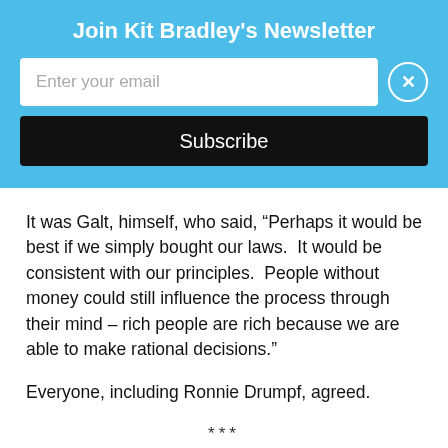Join Kit Bradley's Newsletter
Enter your email
Subscribe
It was Galt, himself, who said, “Perhaps it would be best if we simply bought our laws.  It would be consistent with our principles.  People without money could still influence the process through their mind – rich people are rich because we are able to make rational decisions.”
Everyone, including Ronnie Drumpf, agreed.
***
Around this time, Ray Coin introduced one of his clients to Ronnie: Mikey Lefkowitz.  Mikey got into the Gulch because he